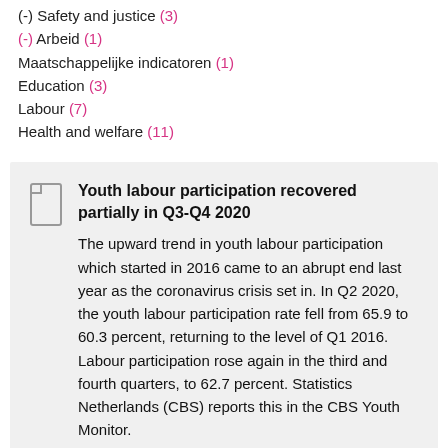(-) Safety and justice (3)
(-) Arbeid (1)
Maatschappelijke indicatoren (1)
Education (3)
Labour (7)
Health and welfare (11)
Youth labour participation recovered partially in Q3-Q4 2020
The upward trend in youth labour participation which started in 2016 came to an abrupt end last year as the coronavirus crisis set in. In Q2 2020, the youth labour participation rate fell from 65.9 to 60.3 percent, returning to the level of Q1 2016. Labour participation rose again in the third and fourth quarters, to 62.7 percent. Statistics Netherlands (CBS) reports this in the CBS Youth Monitor.